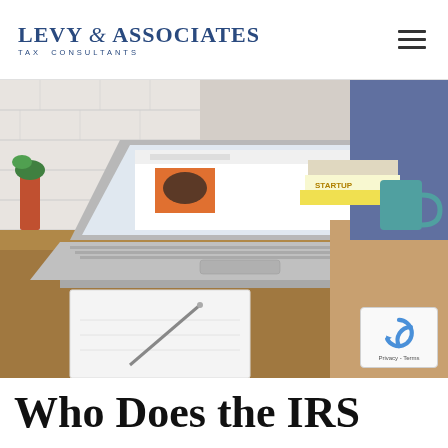LEVY & ASSOCIATES TAX CONSULTANTS
[Figure (photo): Person sitting at a wooden desk working on a MacBook laptop, with an open notebook, pen, stacked books including one labeled STARTUP, a teal mug, and potted plants in the background. White brick wall visible.]
Who Does the IRS